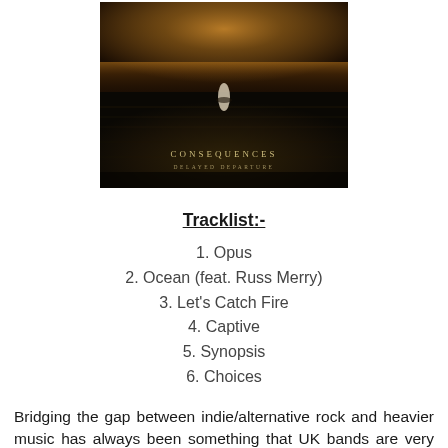[Figure (photo): Album cover for 'Consequences - Delayed Departure'. Dark, moody image of a person standing in a vast ocean under a golden/dark sky. The text 'CONSEQUENCES' and 'DELAYED DEPARTURE' appear near the bottom of the image.]
Tracklist:-
1. Opus
2. Ocean (feat. Russ Merry)
3. Let's Catch Fire
4. Captive
5. Synopsis
6. Choices
Bridging the gap between indie/alternative rock and heavier music has always been something that UK bands are very good at, just look at recent breakthrough act Mallory Knox